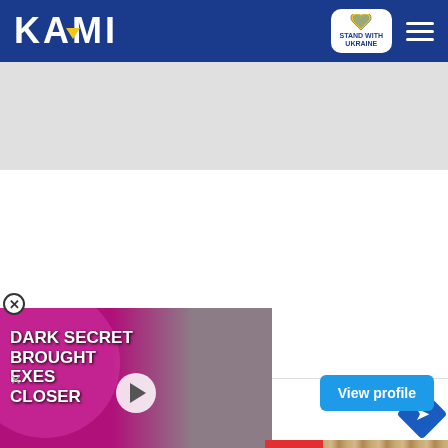[Figure (screenshot): KAMI website header with blue background. KAMI logo in white bold letters with yellow triangle accent, Stand With Ukraine badge, and hamburger menu icon on the right.]
[Figure (screenshot): Gray advertisement placeholder area below the header.]
[Figure (screenshot): Advertisement video thumbnail with text 'DARK SECRET BROUGHT EXES CLOSER' over a pink/magenta background with a couple photo and a play button. A close (X) button is in the upper-left corner.]
[Figure (screenshot): View profile button (blue) on the right side.]
[Figure (screenshot): Bottom advertisement banner for Five Below showing In-store shopping (checkmark), In-store pickup (X), Delivery (X), with a navigation arrow icon on the right.]